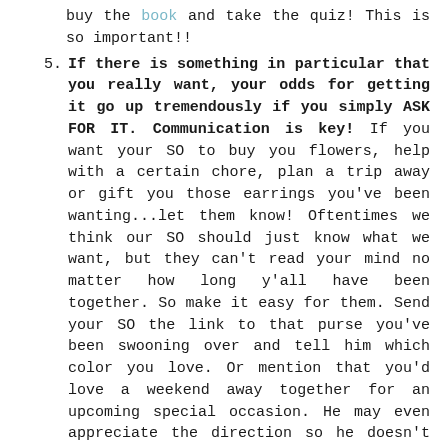buy the book and take the quiz! This is so important!!
5. If there is something in particular that you really want, your odds for getting it go up tremendously if you simply ASK FOR IT. Communication is key! If you want your SO to buy you flowers, help with a certain chore, plan a trip away or gift you those earrings you've been wanting...let them know! Oftentimes we think our SO should just know what we want, but they can't read your mind no matter how long y'all have been together. So make it easy for them. Send your SO the link to that purse you've been swooning over and tell him which color you love. Or mention that you'd love a weekend away together for an upcoming special occasion. He may even appreciate the direction so he doesn't have to guess what you want. Read more about this here.
6. Carve out time alone together. Because my love language is quality time, I feel most